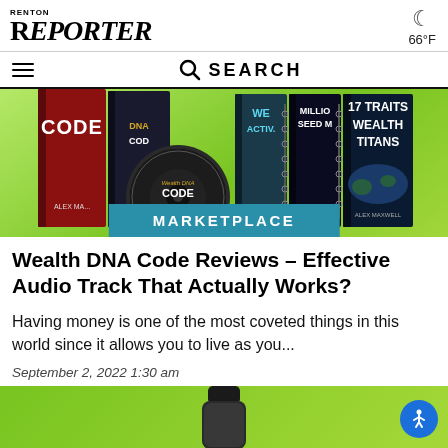Renton Reporter — 66°F
SEARCH
[Figure (photo): Banner showing multiple books including Wealth DNA Code, Wealth Activator, Million Seed Method, and 17 Traits Wealth Titans by Alex Maxwell, on a green background, with a Wealth DNA Code CD disc in the foreground. A teal MARKETPLACE label overlays the bottom center.]
Wealth DNA Code Reviews – Effective Audio Track That Actually Works?
Having money is one of the most coveted things in this world since it allows you to live as you...
September 2, 2022 1:30 am
[Figure (photo): Partial view of a product bottle on a green background, bottom of page.]